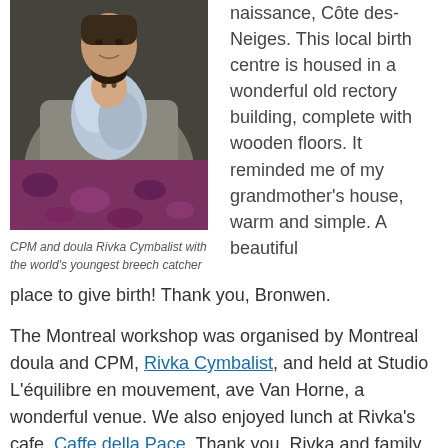[Figure (photo): A person in a grey cardigan holding a newborn baby wrapped in a light blue blanket, with a colourful patterned fabric visible in the background.]
CPM and doula Rivka Cymbalist with the world's youngest breech catcher
naissance, Cote des-Neiges. This local birth centre is housed in a wonderful old rectory building, complete with wooden floors. It reminded me of my grandmother's house, warm and simple. A beautiful place to give birth! Thank you, Bronwen.
The Montreal workshop was organised by Montreal doula and CPM, Rivka Cymbalist, and held at Studio L'équilibre en mouvement, ave Van Horne, a wonderful venue. We also enjoyed lunch at Rivka's cafe, Caffe della Pace. Thank you, Rivka and family for your hospitality! If you are ever in